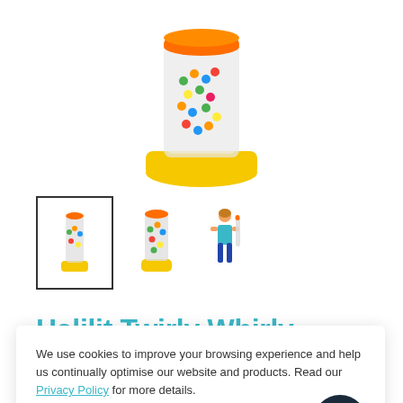[Figure (photo): Product photo of Halilit Twirly Whirly Rainbomaker - a transparent tube with colorful beads and a yellow base]
[Figure (photo): Three product thumbnail images: first selected showing full rainbomaker, second showing close-up of tube, third showing child holding the product]
Halilit Twirly Whirly Rainbomaker
We use cookies to improve your browsing experience and help us continually optimise our website and products. Read our Privacy Policy for more details.
Accept and Close